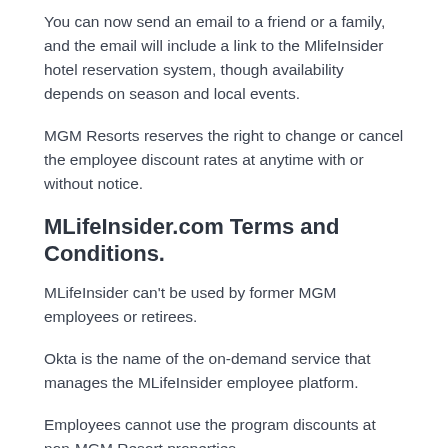You can now send an email to a friend or a family, and the email will include a link to the MlifeInsider hotel reservation system, though availability depends on season and local events.
MGM Resorts reserves the right to change or cancel the employee discount rates at anytime with or without notice.
MLifeInsider.com Terms and Conditions.
MLifeInsider can't be used by former MGM employees or retirees.
Okta is the name of the on-demand service that manages the MLifeInsider employee platform.
Employees cannot use the program discounts at non-MGM Resort properties
Employees should always check their work status with a supervisor before scheduling a trip.
MlifeInsider Login.
You need to log into a MlifeInsider account?